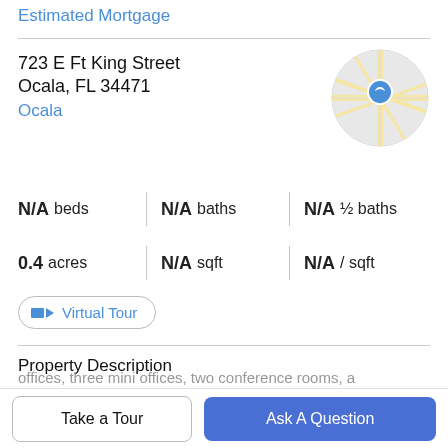Estimated Mortgage
723 E Ft King Street
Ocala, FL 34471
Ocala
[Figure (map): Circular map thumbnail showing a location pin marker over street map of Ocala area]
N/A beds | N/A baths | N/A ½ baths
0.4 acres | N/A sqft | N/A / sqft
Virtual Tour
Property Description
Beautiful professional office located in Ocala's historic district close to the downtown square, with excellent
offices, three mini offices, two conference rooms, a
Take a Tour
Ask A Question